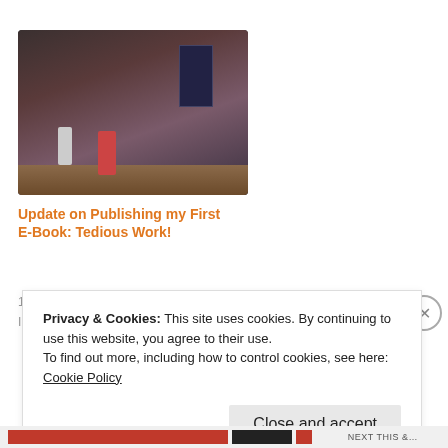[Figure (photo): Thumbnail image of an indoor scene, appearing to be a security camera or home video still, showing two figures in a hallway near a door, with pinkish-tan walls and a dark carpet floor.]
Update on Publishing my First E-Book: Tedious Work!
13 de June de 2015
In "Writing"
Privacy & Cookies: This site uses cookies. By continuing to use this website, you agree to their use.
To find out more, including how to control cookies, see here: Cookie Policy
Close and accept